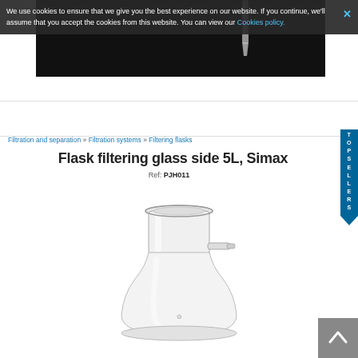We use cookies to ensure that we give you the best experience on our website. If you continue, we'll assume that you accept the cookies from this website. You can view our Cookies policy.
[Figure (photo): Dark background hero image with a glass laboratory dropper/pipette viewed from above]
Filtration and separation » Filtration systems » Filtering flasks
Flask filtering glass side 5L, Simax
Ref: PJH011
[Figure (photo): Clear glass filtering flask with side arm (Büchner flask), 5L Simax brand, showing wide neck with flat ground glass top and small side tube nozzle, placed on white background]